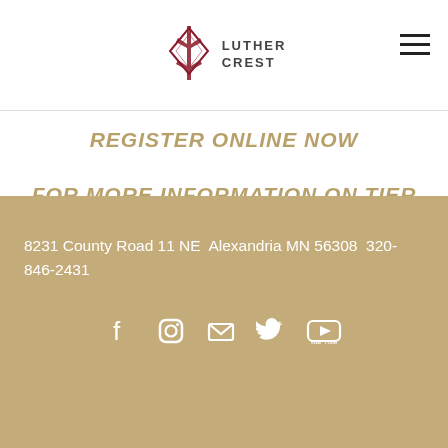Luther Crest
REGISTER ONLINE NOW
FOR MORE INFORMATION ON TIER PRICING
8231 County Road 11 NE  Alexandria MN 56308  320-846-2431